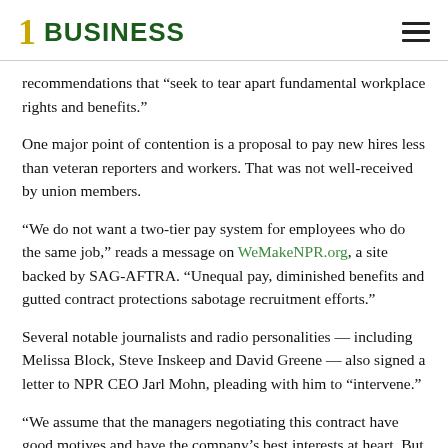1 BUSINESS
recommendations that “seek to tear apart fundamental workplace rights and benefits.”
One major point of contention is a proposal to pay new hires less than veteran reporters and workers. That was not well-received by union members.
“We do not want a two-tier pay system for employees who do the same job,” reads a message on WeMakeNPR.org, a site backed by SAG-AFTRA. “Unequal pay, diminished benefits and gutted contract protections sabotage recruitment efforts.”
Several notable journalists and radio personalities — including Melissa Block, Steve Inskeep and David Greene — also signed a letter to NPR CEO Jarl Mohn, pleading with him to “intervene.”
“We assume that the managers negotiating this contract have good motives and have the company’s best interests at heart. But we’ve been shocked by their efforts to in effect rip it up,” the letter, which is posted